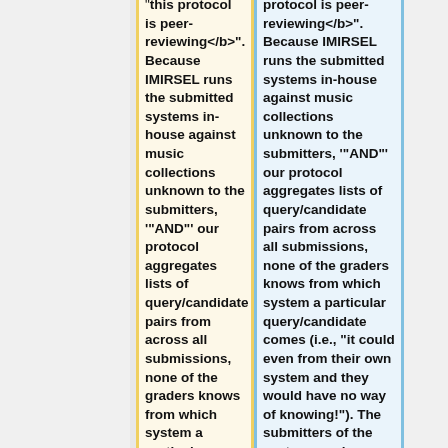<b>this protocol is peer-reviewing</b>". Because IMIRSEL runs the submitted systems in-house against music collections unknown to the submitters, '"AND"' our protocol aggregates lists of query/candidate pairs from across all submissions, none of the graders knows from which system a particular query/candidate comes (i.e., "it could even from their own system and they would have no way of knowing!"). The submitters of the systems under evaluation also have
protocol is peer-reviewing</b>". Because IMIRSEL runs the submitted systems in-house against music collections unknown to the submitters, '"AND"' our protocol aggregates lists of query/candidate pairs from across all submissions, none of the graders knows from which system a particular query/candidate comes (i.e., "it could even from their own system and they would have no way of knowing!"). The submitters of the systems under evaluation also have no way of knowing